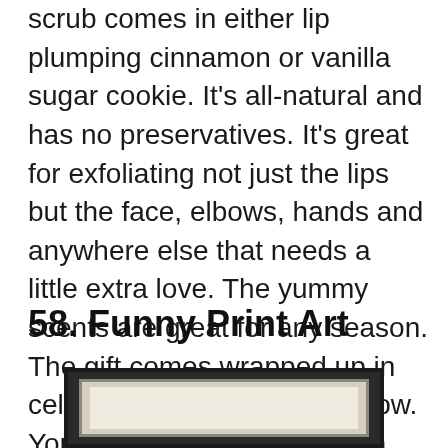scrub comes in either lip plumping cinnamon or vanilla sugar cookie. It’s all-natural and has no preservatives. It’s great for exfoliating not just the lips but the face, elbows, hands and anywhere else that needs a little extra love. The yummy scents are great for any season. The gift comes wrapped up in cellophane and tied with a bow. You can select a flavor and a personalized gift tag.
58. Funny Print Art
[Figure (photo): A framed picture with dark outer frame and light inner mat, partially visible at bottom of page]